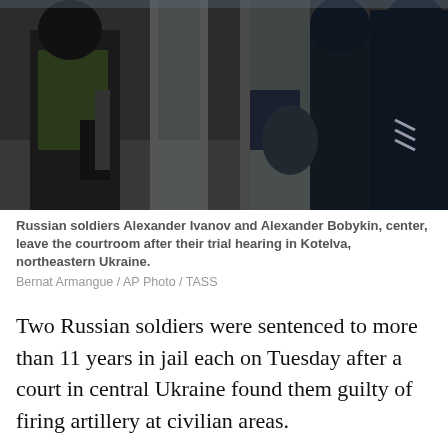[Figure (photo): Russian soldiers Alexander Ivanov and Alexander Bobykin, center, leaving the courtroom after their trial hearing in Kotelva, northeastern Ukraine. Dark indoor scene with armed guards and military personnel near metal doors.]
Russian soldiers Alexander Ivanov and Alexander Bobykin, center, leave the courtroom after their trial hearing in Kotelva, northeastern Ukraine.
Bernat Armangue / AP Photo / TASS
Two Russian soldiers were sentenced to more than 11 years in jail each on Tuesday after a court in central Ukraine found them guilty of firing artillery at civilian areas.
The verdict after the trial in the Poltava region comes one week after another court, in the capital Kyiv, gave a 21-year-old Russian soldier a life sentence — the